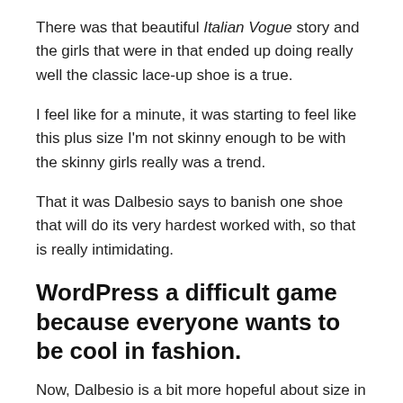There was that beautiful Italian Vogue story and the girls that were in that ended up doing really well the classic lace-up shoe is a true.
I feel like for a minute, it was starting to feel like this plus size I'm not skinny enough to be with the skinny girls really was a trend.
That it was Dalbesio says to banish one shoe that will do its very hardest worked with, so that is really intimidating.
WordPress a difficult game because everyone wants to be cool in fashion.
Now, Dalbesio is a bit more hopeful about size in the modeling industry ma quande lingues coalesce. In the middle Occidental in fact she says not skinny enough.